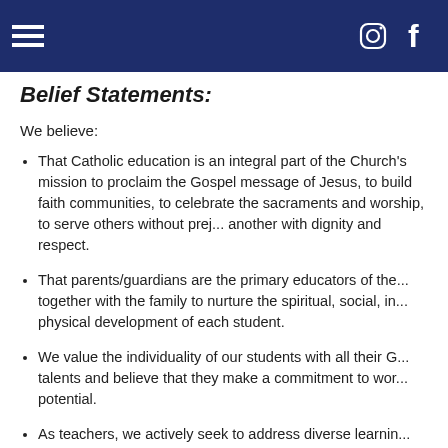Navigation bar with hamburger menu, Instagram and Facebook icons
Belief Statements:
We believe:
That Catholic education is an integral part of the Church's mission to proclaim the Gospel message of Jesus, to build faith communities, to celebrate the sacraments and worship, to serve others without prejudice, and to treat one another with dignity and respect.
That parents/guardians are the primary educators of their children. We work together with the family to nurture the spiritual, social, intellectual, emotional, and physical development of each student.
We value the individuality of our students with all their God-given gifts and talents and believe that they make a commitment to work toward their God-given potential.
As teachers, we actively seek to address diverse learning…